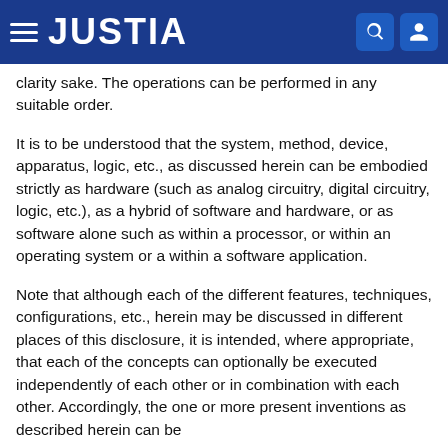JUSTIA
clarity sake. The operations can be performed in any suitable order.
It is to be understood that the system, method, device, apparatus, logic, etc., as discussed herein can be embodied strictly as hardware (such as analog circuitry, digital circuitry, logic, etc.), as a hybrid of software and hardware, or as software alone such as within a processor, or within an operating system or a within a software application.
Note that although each of the different features, techniques, configurations, etc., herein may be discussed in different places of this disclosure, it is intended, where appropriate, that each of the concepts can optionally be executed independently of each other or in combination with each other. Accordingly, the one or more present inventions as described herein can be